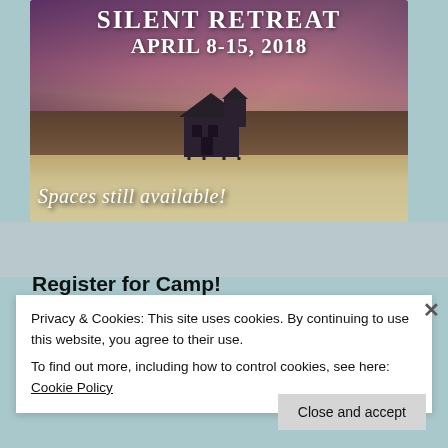[Figure (photo): Beach scene at sunset/dusk with purple and pink sky, a house silhouette on sand dunes, overlaid text reading 'SILENT RETREAT APRIL 8-15, 2018' at top and 'Spaces still available!' at bottom in cursive white text.]
Register for Camp!
Privacy & Cookies: This site uses cookies. By continuing to use this website, you agree to their use.
To find out more, including how to control cookies, see here: Cookie Policy